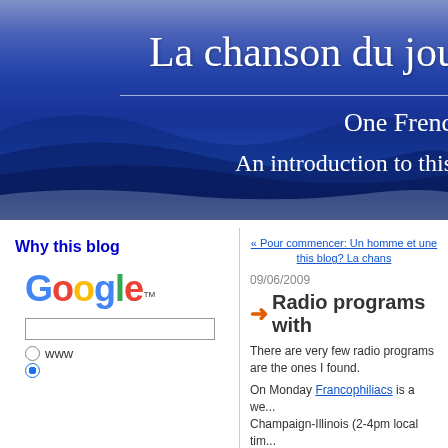La chanson du jou
One Frenc
An introduction to this
Why this blog
[Figure (logo): Google logo with search input box and two radio buttons for www search]
« Pour commencer: Un homme et une... this blog? La chans...
09/06/2009
➜ Radio programs with
There are very few radio programs... are the ones I found.
On Monday Francophiliacs is a we... Champaign-Illinois (2-4pm local tim... their playlists although I don't think... August 2009). Most of the songs th... singers. They don't provide links to... performan